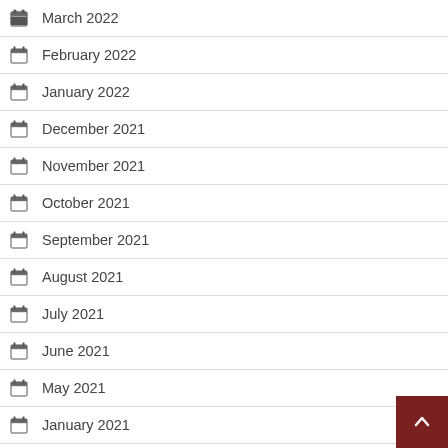March 2022
February 2022
January 2022
December 2021
November 2021
October 2021
September 2021
August 2021
July 2021
June 2021
May 2021
January 2021
August 2020